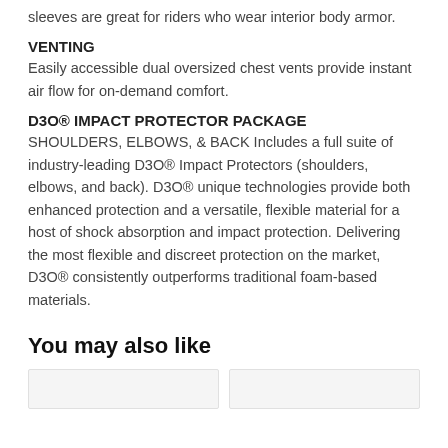sleeves are great for riders who wear interior body armor.
VENTING
Easily accessible dual oversized chest vents provide instant air flow for on-demand comfort.
D3O® IMPACT PROTECTOR PACKAGE
SHOULDERS, ELBOWS, & BACK Includes a full suite of industry-leading D3O® Impact Protectors (shoulders, elbows, and back). D3O® unique technologies provide both enhanced protection and a versatile, flexible material for a host of shock absorption and impact protection. Delivering the most flexible and discreet protection on the market, D3O® consistently outperforms traditional foam-based materials.
You may also like